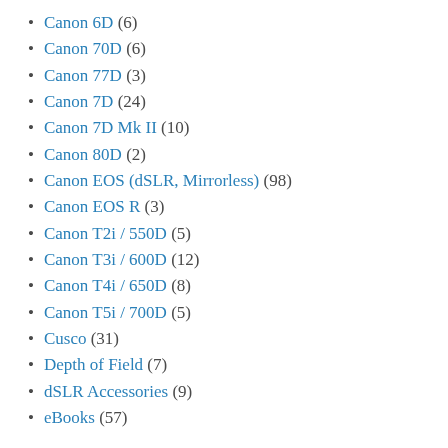Canon 6D (6)
Canon 70D (6)
Canon 77D (3)
Canon 7D (24)
Canon 7D Mk II (10)
Canon 80D (2)
Canon EOS (dSLR, Mirrorless) (98)
Canon EOS R (3)
Canon T2i / 550D (5)
Canon T3i / 600D (12)
Canon T4i / 650D (8)
Canon T5i / 700D (5)
Cusco (31)
Depth of Field (7)
dSLR Accessories (9)
eBooks (57)